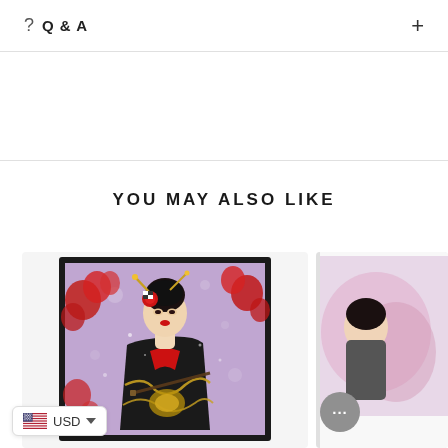Q & A
YOU MAY ALSO LIKE
[Figure (photo): Framed canvas art print showing a geisha woman in elaborate black and red kimono with gold embroidery, holding a flute/fan, surrounded by red cherry blossoms on a purple background, displayed in a black frame.]
[Figure (photo): Partial view of a second product card showing an artwork of a person with pink/watercolor background, partially cropped on the right edge.]
USD